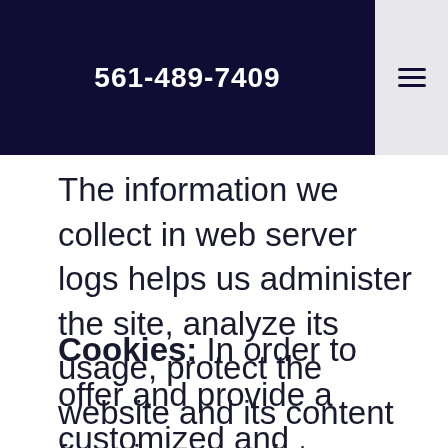561-489-7409
The information we collect in web server logs helps us administer the site, analyze its usage, protect the website and its content from inappropriate use and improve the user’s experience.
Cookies: In order to offer and provide a customized and personal service, our websites and applications may use cookies to store and help track information about you. Cookies are simply small pieces of data